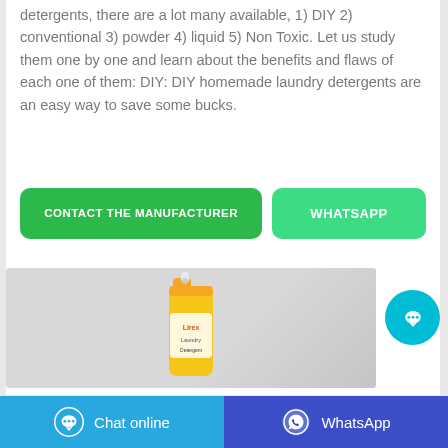detergents, there are a lot many available, 1) DIY 2) conventional 3) powder 4) liquid 5) Non Toxic. Let us study them one by one and learn about the benefits and flaws of each one of them: DIY: DIY homemade laundry detergents are an easy way to save some bucks.
[Figure (other): Two call-to-action buttons: a dark green 'CONTACT THE MANUFACTURER' button and a lighter green 'WHATSAPP' button]
[Figure (photo): Product photo showing a yellow and orange laundry detergent bottle (appears to be 'Lirex' or similar brand) on a light grey background]
[Figure (other): Cyan circular chat bubble icon button floating on the right side of the screen]
[Figure (other): Bottom navigation bar with two buttons: light blue 'Chat online' button with chat icon on the left, and dark blue 'WhatsApp' button with WhatsApp icon on the right]